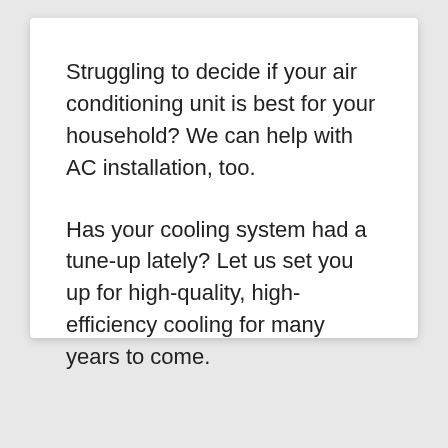Struggling to decide if your air conditioning unit is best for your household? We can help with AC installation, too.
Has your cooling system had a tune-up lately? Let us set you up for high-quality, high-efficiency cooling for many years to come.